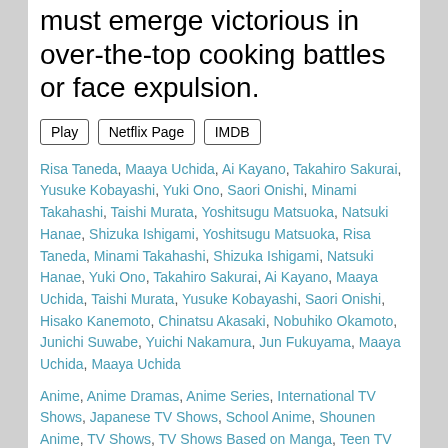must emerge victorious in over-the-top cooking battles or face expulsion.
Play | Netflix Page | IMDB
Risa Taneda, Maaya Uchida, Ai Kayano, Takahiro Sakurai, Yusuke Kobayashi, Yuki Ono, Saori Onishi, Minami Takahashi, Taishi Murata, Yoshitsugu Matsuoka, Natsuki Hanae, Shizuka Ishigami, Yoshitsugu Matsuoka, Risa Taneda, Minami Takahashi, Shizuka Ishigami, Natsuki Hanae, Yuki Ono, Takahiro Sakurai, Ai Kayano, Maaya Uchida, Taishi Murata, Yusuke Kobayashi, Saori Onishi, Hisako Kanemoto, Chinatsu Akasaki, Nobuhiko Okamoto, Junichi Suwabe, Yuichi Nakamura, Jun Fukuyama, Maaya Uchida, Maaya Uchida
Anime, Anime Dramas, Anime Series, International TV Shows, Japanese TV Shows, School Anime, Shounen Anime, TV Shows, TV Shows Based on Manga, Teen TV Shows
Original language: Indonesian
Language audio available in United States: